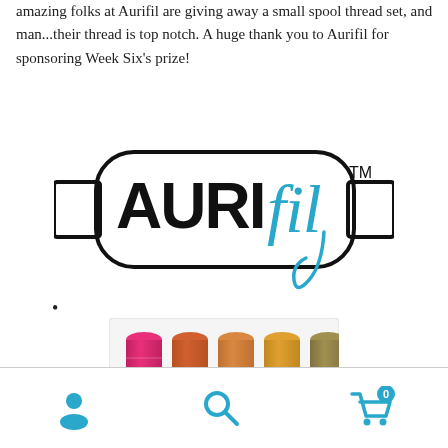amazing folks at Aurifil are giving away a small spool thread set, and man...their thread is top notch. A huge thank you to Aurifil for sponsoring Week Six's prize!
[Figure (logo): Aurifil logo — black spool shape with AURIFIL text in block letters and cursive 'fil' script in blue, with TM mark]
•
[Figure (photo): Photo of Aurifil small spool thread set showing 5 spools in shades of pink, orange, and gold on a white background]
Navigation footer with user icon, search icon, and cart icon (showing 0 items)